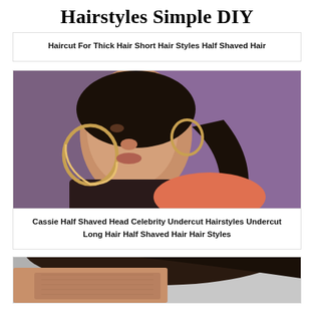Hairstyles Simple DIY
Haircut For Thick Hair Short Hair Styles Half Shaved Hair
[Figure (photo): Woman with large gold hoop earrings, dark braided hair pulled back, wearing a dark top against a purple background]
Cassie Half Shaved Head Celebrity Undercut Hairstyles Undercut Long Hair Half Shaved Hair Hair Styles
[Figure (photo): Close-up of the back of a person's head showing a shaved undercut hairstyle with dark hair on top]